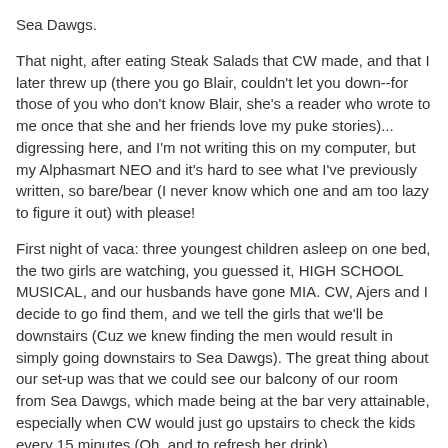Sea Dawgs.
That night, after eating Steak Salads that CW made, and that I later threw up (there you go Blair, couldn't let you down--for those of you who don't know Blair, she's a reader who wrote to me once that she and her friends love my puke stories)... digressing here, and I'm not writing this on my computer, but my Alphasmart NEO and it's hard to see what I've previously written, so bare/bear (I never know which one and am too lazy to figure it out) with please!
First night of vaca: three youngest children asleep on one bed, the two girls are watching, you guessed it, HIGH SCHOOL MUSICAL, and our husbands have gone MIA. CW, Ajers and I decide to go find them, and we tell the girls that we'll be downstairs (Cuz we knew finding the men would result in simply going downstairs to Sea Dawgs). The great thing about our set-up was that we could see our balcony of our room from Sea Dawgs, which made being at the bar very attainable, especially when CW would just go upstairs to check the kids every 15 minutes (Oh, and to refresh her drink).